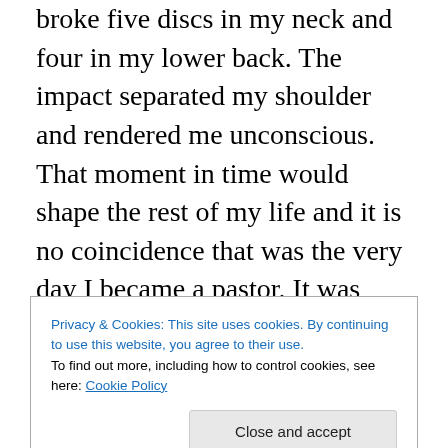broke five discs in my neck and four in my lower back. The impact separated my shoulder and rendered me unconscious. That moment in time would shape the rest of my life and it is no coincidence that was the very day I became a pastor. It was almost as if the devil was trying to take me out before I could begin my ministry. It would take over five reconstructive surgeries to put me back together again, but throughout the journey to where I find myself today, I remained faithful to the Lord, I witnessed to countless doctors, nurses, techs, and anyone else who would listen to the miracle God was doing in my life. Sure,
Privacy & Cookies: This site uses cookies. By continuing to use this website, you agree to their use.
To find out more, including how to control cookies, see here: Cookie Policy
Close and accept
M Di...